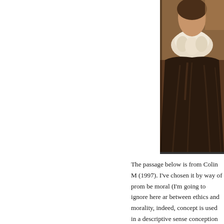[Figure (photo): Partial view of a classical painting showing a figure in dark robes with a white collar/ruff, cropped to show the upper body and face area, with warm golden-brown tones.]
The passage below is from Colin M (1997). I've chosen it by way of prom be moral (I'm going to ignore here ar between ethics and morality, indeed, concept is used in a descriptive sense conception of what's ethical or moral be the case that, for the individual, le